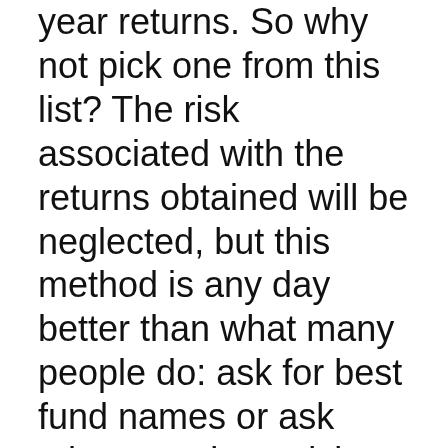year returns. So why not pick one from this list? The risk associated with the returns obtained will be neglected, but this method is any day better than what many people do: ask for best fund names or ask other people to pick from their shortlist.
If the following appears a bit complicated to you, adopt method 1, but do not fail to learn “how to review your mutual fund portfolio”